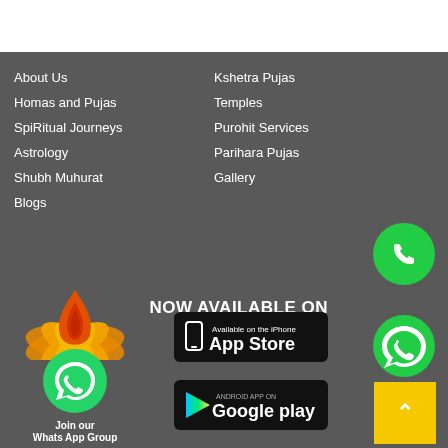About Us
Homas and Pujas
SpiRitual Journeys
Astrology
Shubh Muhurat
Blogs
Kshetra Pujas
Temples
Purohit Services
Parihara Pujas
Gallery
[Figure (logo): Pure Shop flame logo with lotus leaves in orange and red]
pure shop
[Figure (logo): WhatsApp green circle icon for Join our Whats App Group]
Join our Whats App Group
NOW AVAILABLE ON
[Figure (logo): Available on the iPhone App Store black button]
[Figure (logo): Android App on Google Play black button]
[Figure (logo): WhatsApp green phone circle icon (top right)]
[Figure (logo): WhatsApp green chat bubble circle icon (mid right)]
[Figure (illustration): Yellow square button with white upward chevron/arrow]